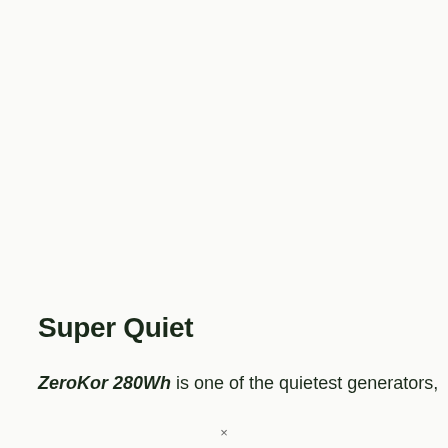Super Quiet
ZeroKor 280Wh is one of the quietest generators,